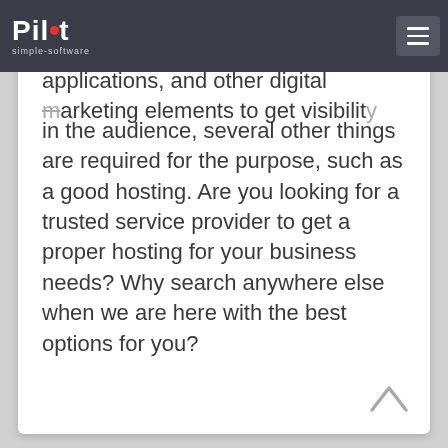Pilot simple-software
applications, and other digital marketing elements to get visibility in the audience, several other things are required for the purpose, such as a good hosting. Are you looking for a trusted service provider to get a proper hosting for your business needs? Why search anywhere else when we are here with the best options for you?